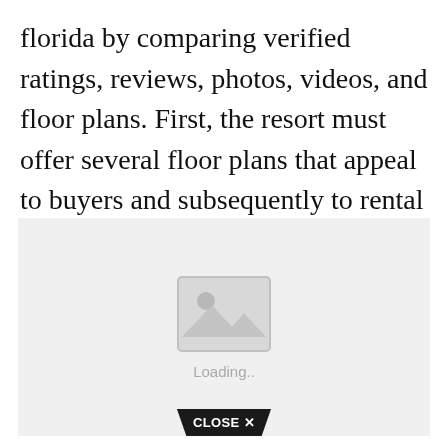florida by comparing verified ratings, reviews, photos, videos, and floor plans. First, the resort must offer several floor plans that appeal to buyers and subsequently to rental guests.
[Figure (other): Loading placeholder image with a grey background, image icon in the center, and 'Loading..' text below it. A 'CLOSE X' button appears at the bottom center.]